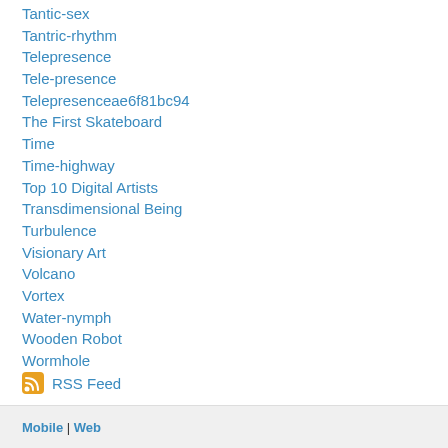Tantic-sex
Tantric-rhythm
Telepresence
Tele-presence
Telepresenceae6f81bc94
The First Skateboard
Time
Time-highway
Top 10 Digital Artists
Transdimensional Being
Turbulence
Visionary Art
Volcano
Vortex
Water-nymph
Wooden Robot
Wormhole
RSS Feed
Mobile | Web